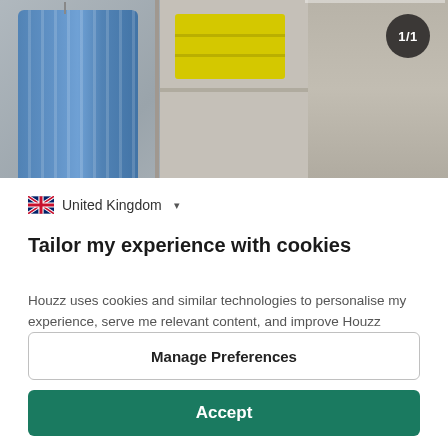[Figure (photo): Photograph of an open wardrobe/closet with a blue striped shirt hanging on the left, yellow folded towels on a shelf in the center, and wooden panel shelving on the right. A dark circular badge showing '1/1' is visible in the top right corner.]
United Kingdom
Tailor my experience with cookies
Houzz uses cookies and similar technologies to personalise my experience, serve me relevant content, and improve Houzz products and services. By clicking 'Accept' I agree to this, as further described in the Houzz Cookie Policy. I can reject non-
Manage Preferences
Accept